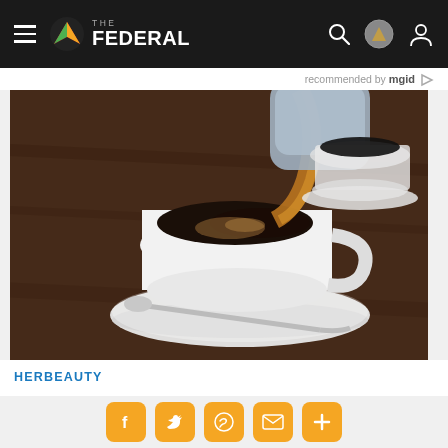THE FEDERAL
recommended by mgid
[Figure (photo): Coffee being poured from a pot into a white cup on a saucer with a spoon on a dark wooden table]
HERBEAUTY
How You Like Your Coffee Can Speak
Social share buttons: Facebook, Twitter, WhatsApp, Email, More